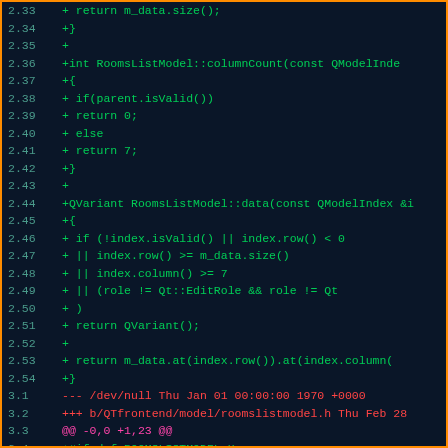[Figure (screenshot): Code diff viewer showing C++ source code lines 2.33 to 3.7 with green added lines and red/magenta diff headers on dark background with orange border]